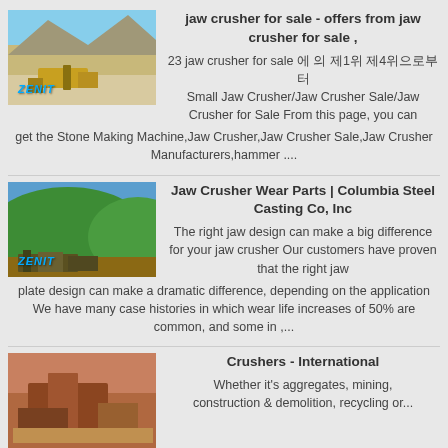[Figure (photo): Mining/quarry site with yellow machinery and mountains in background, ZENIT watermark]
jaw crusher for sale - offers from jaw crusher for sale ,
23 jaw crusher for sale 에 의 제1위 제4위으로부터 Small Jaw Crusher/Jaw Crusher Sale/Jaw Crusher for Sale From this page, you can get the Stone Making Machine,Jaw Crusher,Jaw Crusher Sale,Jaw Crusher Manufacturers,hammer ....
[Figure (photo): Green hilly landscape with logging/crushing machinery at base, ZENIT watermark]
Jaw Crusher Wear Parts | Columbia Steel Casting Co, Inc
The right jaw design can make a big difference for your jaw crusher Our customers have proven that the right jaw plate design can make a dramatic difference, depending on the application We have many case histories in which wear life increases of 50% are common, and some in ,...
[Figure (photo): Brown/orange crusher machinery in field setting]
Crushers - International
Whether it's aggregates, mining, construction & demolition, recycling or...